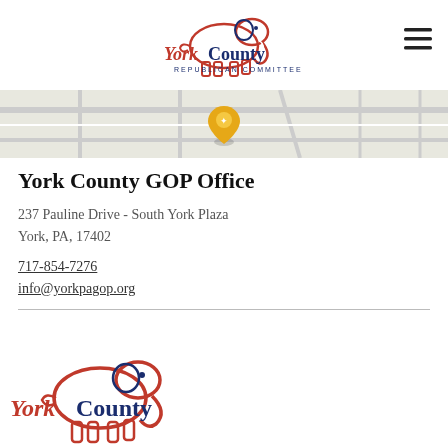[Figure (logo): York County Republican Committee logo with elephant, displayed in header]
[Figure (map): Map strip showing location pin on street map]
York County GOP Office
237 Pauline Drive - South York Plaza
York, PA, 17402
717-854-7276
info@yorkpagop.org
[Figure (logo): York County Republican Committee logo, larger version at bottom of page]